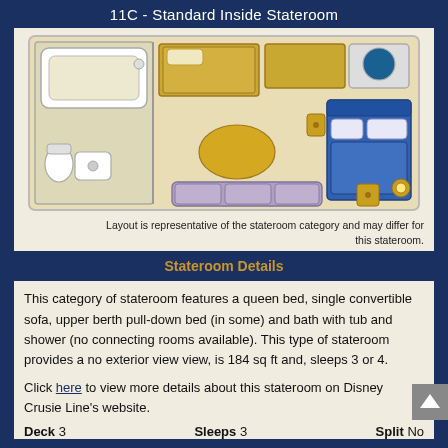11C - Standard Inside Stateroom
[Figure (floorplan): Top-down floor plan of a cruise ship stateroom showing bathroom with tub on left, sofa/couch in center, queen bed on right, and storage/furniture throughout.]
Layout is representative of the stateroom category and may differ for this stateroom.
Stateroom Details
This category of stateroom features a queen bed, single convertible sofa, upper berth pull-down bed (in some) and bath with tub and shower (no connecting rooms available). This type of stateroom provides a no exterior view view, is 184 sq ft and, sleeps 3 or 4.
Click here to view more details about this stateroom on Disney Crusie Line's website.
Deck 3   Sleeps 3   Split No